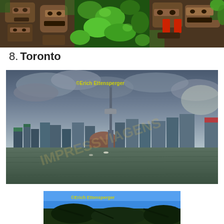[Figure (photo): Collage of three close-up photos of totem pole carvings with green foliage in the background. The carvings show detailed wooden faces and features, one painted with red accents.]
8. Toronto
[Figure (photo): Wide panoramic photo of the Toronto skyline seen from the water. The CN Tower is prominent in the center. The sky is dramatic with clouds. Watermark reads ©Erich Ettensperger. A diagonal watermark reading IMPRESSVIAGENS is overlaid.]
[Figure (photo): Partial photo showing a bright blue sky with tree branches and foliage. Watermark reads ©Erich Ettensperger at top.]